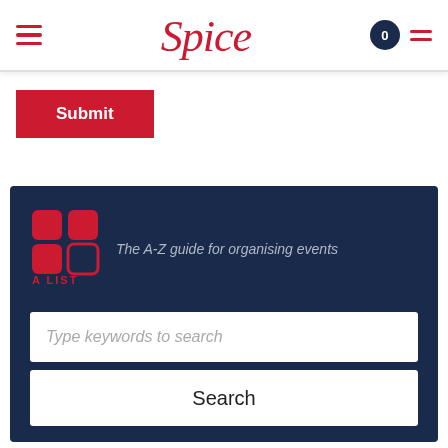Spice — navigation header with hamburger menu, logo, cart icon
Submit
[Figure (logo): A-List logo: four red rounded squares in a 2x2 grid with text 'A LIST' below]
The A-Z guide for organising events
Type keywords to search
Search